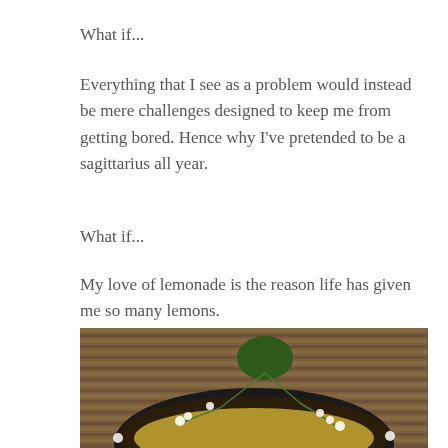What if...
Everything that I see as a problem would instead be mere challenges designed to keep me from getting bored. Hence why I've pretended to be a sagittarius all year.
What if...
My love of lemonade is the reason life has given me so many lemons.
[Figure (photo): A dark bowl or cup with lemonade, garnished with small white flowers on sprigs, set on a bamboo mat background, shot from above at an angle.]